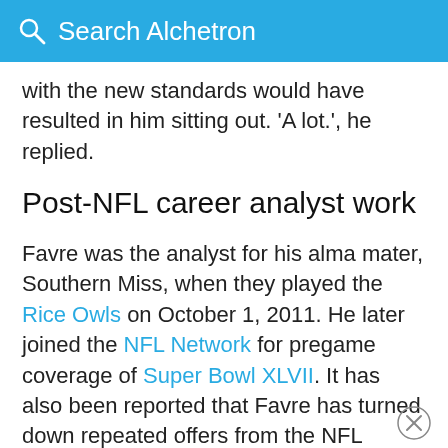Search Alchetron
with the new standards would have resulted in him sitting out. 'A lot.', he replied.
Post-NFL career analyst work
Favre was the analyst for his alma mater, Southern Miss, when they played the Rice Owls on October 1, 2011. He later joined the NFL Network for pregame coverage of Super Bowl XLVII. It has also been reported that Favre has turned down repeated offers from the NFL Network to become an on-air analyst.
Honors and awards